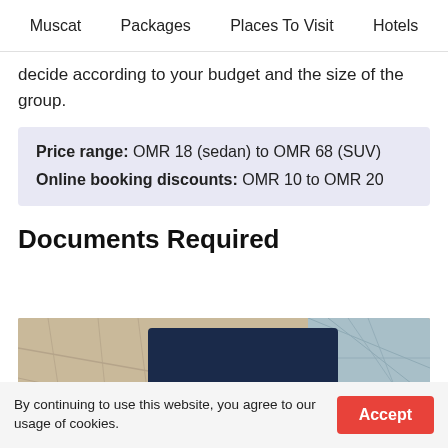Muscat   Packages   Places To Visit   Hotels
decide according to your budget and the size of the group.
Price range: OMR 18 (sedan) to OMR 68 (SUV)
Online booking discounts: OMR 10 to OMR 20
Documents Required
[Figure (photo): A dark navy blue passport placed on a map background, with gold text reading PASSPORT and a gold eagle emblem visible on the cover.]
By continuing to use this website, you agree to our usage of cookies.